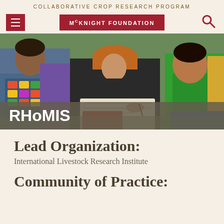COLLABORATIVE CROP RESEARCH PROGRAM
[Figure (logo): McKnight Foundation button with hamburger menu icon and search icon]
[Figure (photo): Three people sitting together outdoors, one writing on paper, wearing traditional colorful clothing]
RHoMIS
Lead Organization:
International Livestock Research Institute
Community of Practice: